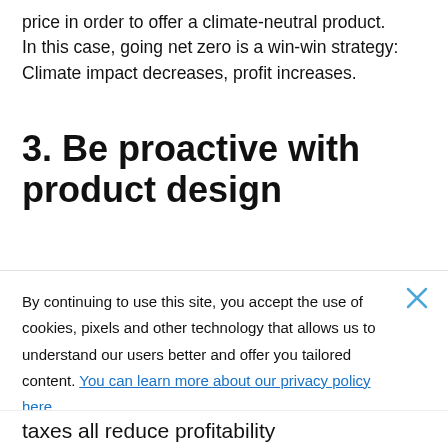price in order to offer a climate-neutral product. In this case, going net zero is a win-win strategy: Climate impact decreases, profit increases.
3. Be proactive with product design
By continuing to use this site, you accept the use of cookies, pixels and other technology that allows us to understand our users better and offer you tailored content. You can learn more about our privacy policy here
GOT IT
taxes all reduce profitability